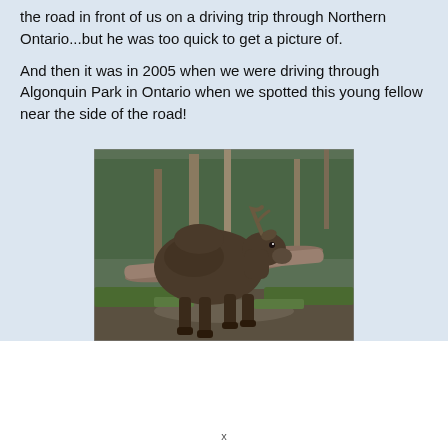the road in front of us on a driving trip through Northern Ontario...but he was too quick to get a picture of.
And then it was in 2005 when we were driving through Algonquin Park in Ontario when we spotted this young fellow near the side of the road!
[Figure (photo): A young moose standing near the side of a road in Algonquin Park, Ontario. The moose is brown and stocky, standing in shallow water or mud near fallen logs, with green grass and evergreen trees visible in the background.]
x